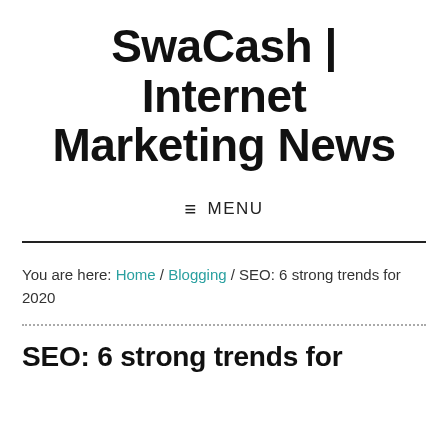SwaCash | Internet Marketing News
≡ MENU
You are here: Home / Blogging / SEO: 6 strong trends for 2020
SEO: 6 strong trends for